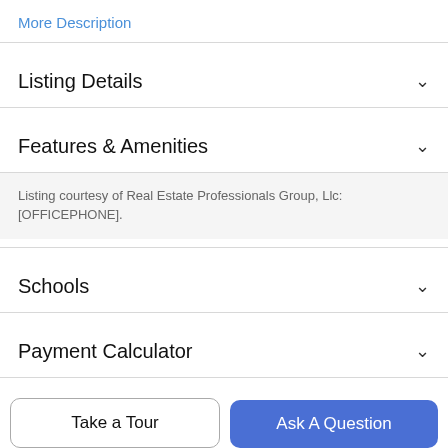More Description
Listing Details
Features & Amenities
Listing courtesy of Real Estate Professionals Group, Llc: [OFFICEPHONE].
Schools
Payment Calculator
Contact Agent
Take a Tour
Ask A Question